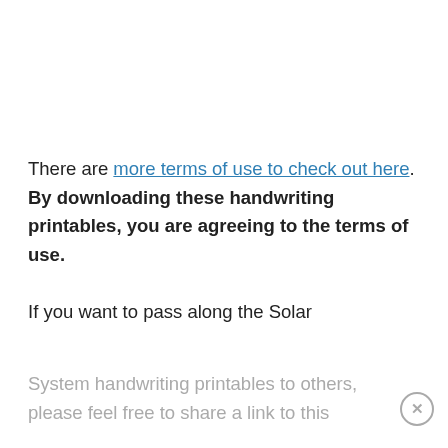There are more terms of use to check out here. By downloading these handwriting printables, you are agreeing to the terms of use.
If you want to pass along the Solar System handwriting printables to others, please feel free to share a link to this